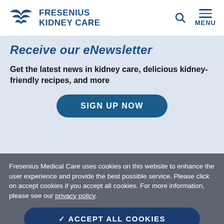FRESENIUS KIDNEY CARE
Receive our eNewsletter
Get the latest news in kidney care, delicious kidney-friendly recipes, and more
SIGN UP NOW
Fresenius Medical Care uses cookies on this website to enhance the user experience and provide the best possible service. Please click on accept cookies if you accept all cookies. For more information, please see our privacy policy.
✓ ACCEPT ALL COOKIES